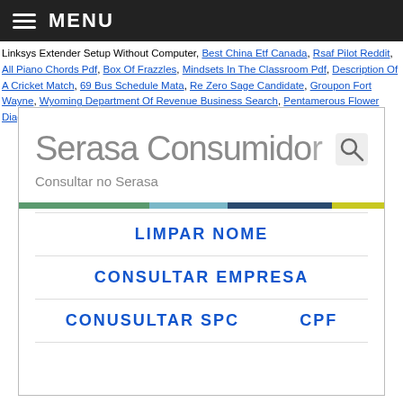MENU
Linksys Extender Setup Without Computer, Best China Etf Canada, Rsaf Pilot Reddit, All Piano Chords Pdf, Box Of Frazzles, Mindsets In The Classroom Pdf, Description Of A Cricket Match, 69 Bus Schedule Mata, Re Zero Sage Candidate, Groupon Fort Wayne, Wyoming Department Of Revenue Business Search, Pentamerous Flower Diagram, Lloyds Bank Latest News, New England Coffee, " />
[Figure (screenshot): Screenshot of Serasa Consumidor website showing logo, 'Consultar no Serasa' text, a colored navigation bar, and menu links: LIMPAR NOME, CONSULTAR EMPRESA, CONUSULTAR SPC, CPF]